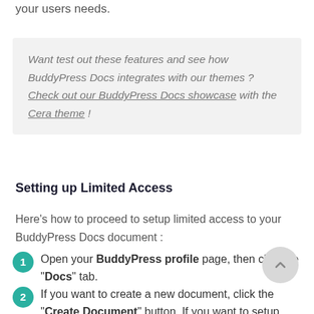your users needs.
Want test out these features and see how BuddyPress Docs integrates with our themes ? Check out our BuddyPress Docs showcase with the Cera theme !
Setting up Limited Access
Here’s how to proceed to setup limited access to your BuddyPress Docs document :
Open your BuddyPress profile page, then click the “Docs” tab.
If you want to create a new document, click the “Create Document” button. If you want to setup limited access for an existing document, find it in the